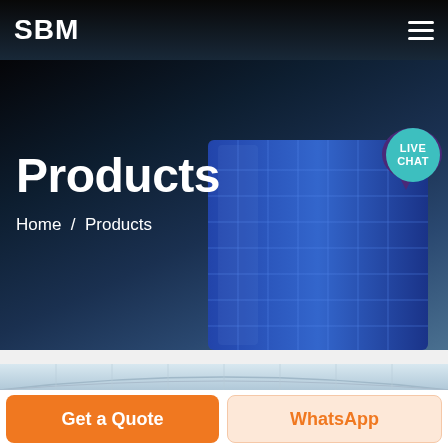SBM
[Figure (screenshot): Hero banner with dark gradient overlay and blue glass building in the right portion. Live chat bubble in teal with purple speech icon at top right.]
Products
Home / Products
[Figure (photo): Interior architectural photo showing a glass and steel roof structure with arched framework, light background.]
Get a Quote
WhatsApp